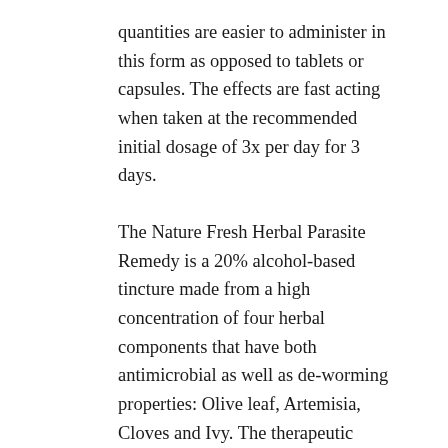quantities are easier to administer in this form as opposed to tablets or capsules. The effects are fast acting when taken at the recommended initial dosage of 3x per day for 3 days.
The Nature Fresh Herbal Parasite Remedy is a 20% alcohol-based tincture made from a high concentration of four herbal components that have both antimicrobial as well as de-worming properties: Olive leaf, Artemisia, Cloves and Ivy. The therapeutic effects have been substantiated by European and German Commission E Monographs and well-documented research from around the world. These herbs are effective against a wide spectrum of viruses, fungi, bacteria, moulds, protozoa, flukes, and worms. Some other helpful properties include: remedies for digestion, boosting the immunity, clearing up urinary...